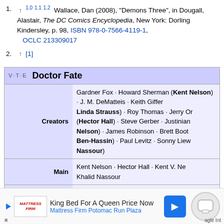1. ↑ 1.0 1.1 1.2 Wallace, Dan (2008), "Demons Three", in Dougall, Alastair, The DC Comics Encyclopedia, New York: Dorling Kindersley, p. 98, ISBN 978-0-7566-4119-1, OCLC 213309017
2. ↑ [1]
|  | Doctor Fate |
| --- | --- |
| Creators | Gardner Fox · Howard Sherman (Kent Nelson) · J. M. DeMatteis · Keith Giffen · Linda Strauss · Roy Thomas · Jerry Ordway (Hector Hall) · Steve Gerber · Justinian Nelson) · James Robinson · Brett Booth (Ben-Hassin) · Paul Levitz · Sonny Liew (Nassour) |
| Main | Kent Nelson · Hector Hall · Kent V. Nelson · Khalid Nassour |
| Supporting characters | Lords of Order · Phantom S... |